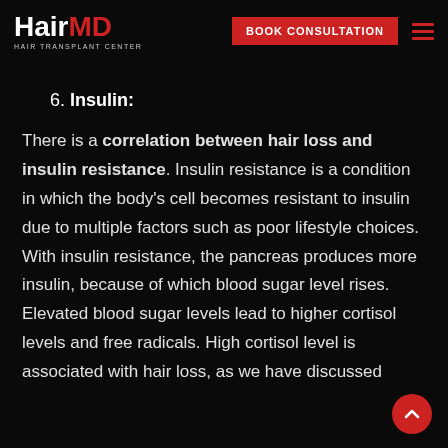HairMD HAIR TRANSPLANT CENTER | BOOK CONSULTATION
6. Insulin:
There is a correlation between hair loss and insulin resistance. Insulin resistance is a condition in which the body's cell becomes resistant to insulin due to multiple factors such as poor lifestyle choices. With insulin resistance, the pancreas produces more insulin, because of which blood sugar level rises. Elevated blood sugar levels lead to higher cortisol levels and free radicals. High cortisol level is associated with hair loss, as we have discussed